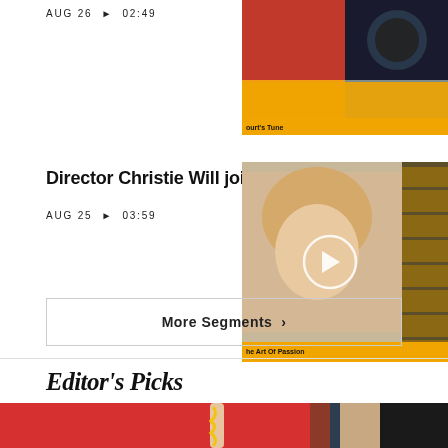AUG 26  ▶  02:49
[Figure (screenshot): Video thumbnail showing colorful segments, bottom caption reads 'ourt's Tune']
Director Christie Will joins us!
AUG 25  ▶  03:59
[Figure (screenshot): Video thumbnail with play button overlay, bottom caption reads 'he Art Of Passion']
More Segments  ›
Editor's Picks
[Figure (photo): Hot dog shaped popsicle with mustard on a red/pink background, partially visible person on the right]